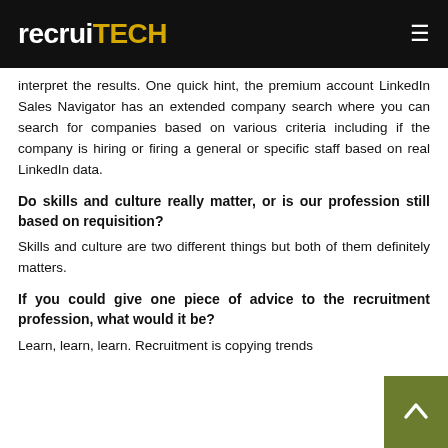recruiTECH
interpret the results. One quick hint, the premium account LinkedIn Sales Navigator has an extended company search where you can search for companies based on various criteria including if the company is hiring or firing a general or specific staff based on real LinkedIn data.
Do skills and culture really matter, or is our profession still based on requisition?
Skills and culture are two different things but both of them definitely matters.
If you could give one piece of advice to the recruitment profession, what would it be?
Learn, learn, learn. Recruitment is copying trends